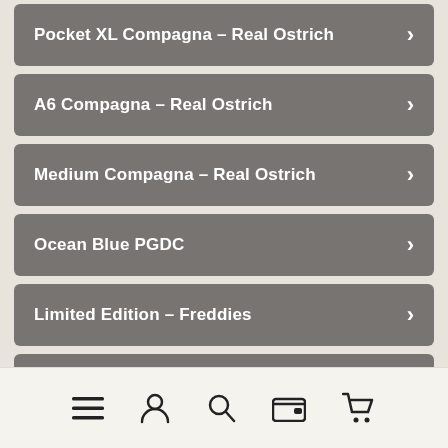Pocket XL Compagna – Real Ostrich
A6 Compagna – Real Ostrich
Medium Compagna – Real Ostrich
Ocean Blue PGDC
Limited Edition – Freddies
A5 Compagna
Navigation bar with menu, account, search, wallet, cart icons